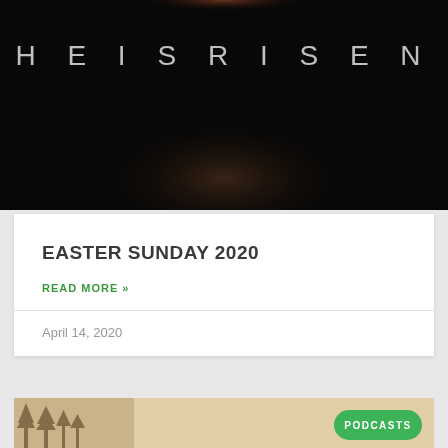[Figure (photo): Dark background image with 'HE IS RISEN' text in spaced uppercase letters, with a faint warm glow/light source at the bottom center]
EASTER SUNDAY 2020
READ MORE »
April 14, 2020
[Figure (photo): Partial view of a landscape image with trees silhouette on a beige/tan background, with a green 'PODCASTS' badge in the bottom right]